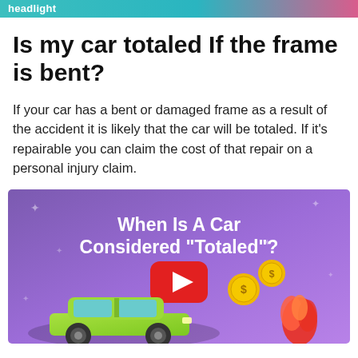headlight
Is my car totaled If the frame is bent?
If your car has a bent or damaged frame as a result of the accident it is likely that the car will be totaled. If it’s repairable you can claim the cost of that repair on a personal injury claim.
[Figure (screenshot): YouTube video thumbnail with purple gradient background showing 'When Is A Car Considered "Totaled"?' title, a YouTube play button, a green car, gold coins, and a red flame graphic]